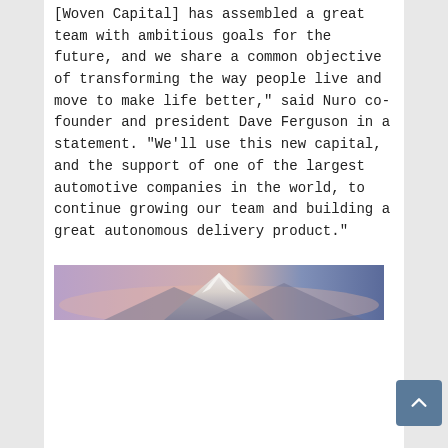[Woven Capital] has assembled a great team with ambitious goals for the future, and we share a common objective of transforming the way people live and move to make life better," said Nuro co-founder and president Dave Ferguson in a statement. “We’ll use this new capital, and the support of one of the largest automotive companies in the world, to continue growing our team and building a great autonomous delivery product.”
[Figure (photo): A wide landscape photo showing a snow-capped mountain peak against a pink and blue gradient sky at dusk or dawn.]